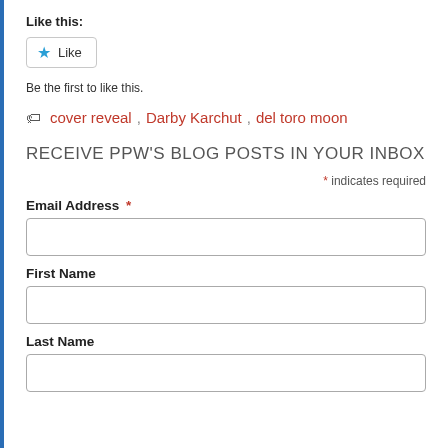Like this:
[Figure (other): Like button with star icon]
Be the first to like this.
cover reveal, Darby Karchut, del toro moon
RECEIVE PPW'S BLOG POSTS IN YOUR INBOX
* indicates required
Email Address *
First Name
Last Name